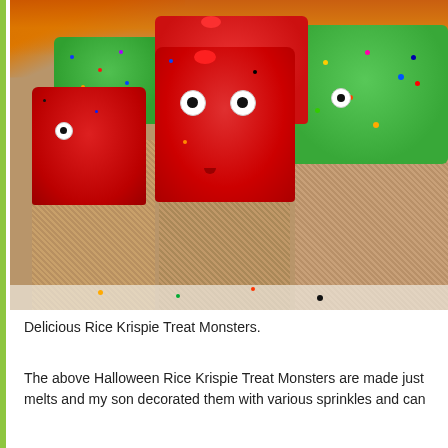[Figure (photo): A photograph of colorful Halloween Rice Krispie Treat Monsters decorated with colored candy melts (red and green), candy eyes (white with black pupils), sprinkles, and small candies, arranged on a white surface.]
Delicious Rice Krispie Treat Monsters.
The above Halloween Rice Krispie Treat Monsters are made just melts and my son decorated them with various sprinkles and can